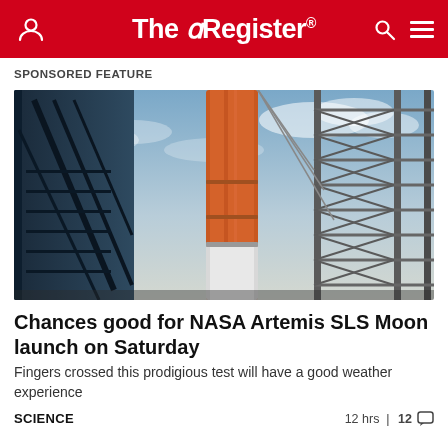The Register
SPONSORED FEATURE
[Figure (photo): NASA Artemis SLS rocket on launch pad, viewed from below against a cloudy sky, with the orange rocket body and launch tower visible.]
Chances good for NASA Artemis SLS Moon launch on Saturday
Fingers crossed this prodigious test will have a good weather experience
SCIENCE    12 hrs | 12 comments